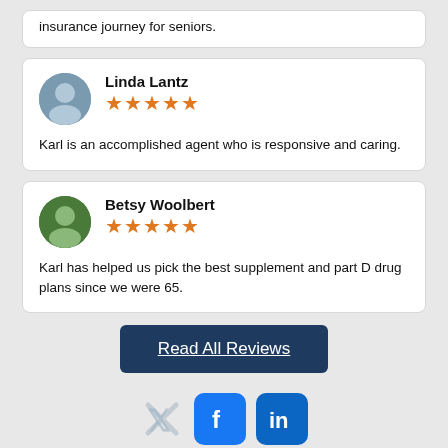insurance journey for seniors.
Linda Lantz
★★★★★
Karl is an accomplished agent who is responsive and caring.
Betsy Woolbert
★★★★★
Karl has helped us pick the best supplement and part D drug plans since we were 65.
Read All Reviews
[Figure (logo): X (Twitter), Facebook, and LinkedIn social media icons]